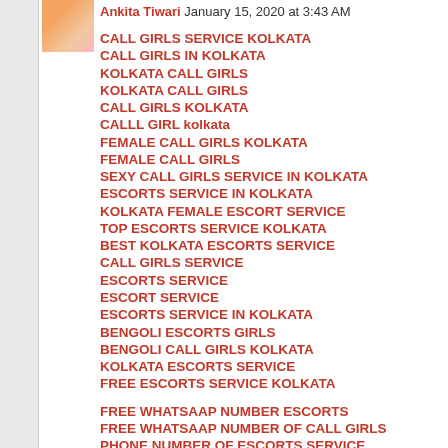Ankita Tiwari January 15, 2020 at 3:43 AM
CALL GIRLS SERVICE KOLKATA
CALL GIRLS IN KOLKATA
KOLKATA CALL GIRLS
KOLKATA CALL GIRLS
CALL GIRLS KOLKATA
CALLL GIRL kolkata
FEMALE CALL GIRLS KOLKATA
FEMALE CALL GIRLS
SEXY CALL GIRLS SERVICE IN KOLKATA
ESCORTS SERVICE IN KOLKATA
KOLKATA FEMALE ESCORT SERVICE
TOP ESCORTS SERVICE KOLKATA
BEST KOLKATA ESCORTS SERVICE
CALL GIRLS SERVICE
ESCORTS SERVICE
ESCORT SERVICE
ESCORTS SERVICE IN KOLKATA
BENGOLI ESCORTS GIRLS
BENGOLI CALL GIRLS KOLKATA
KOLKATA ESCORTS SERVICE
FREE ESCORTS SERVICE KOLKATA

FREE WHATSAAP NUMBER ESCORTS
FREE WHATSAAP NUMBER OF CALL GIRLS
PHONE NUMBER OF ESCORTS SERVICE